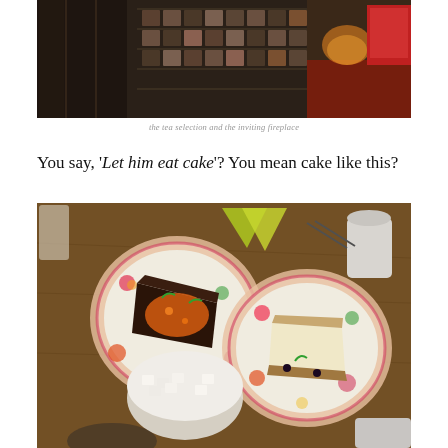[Figure (photo): Interior photo showing a tea selection display with shelves/cabinet and an inviting fireplace with a red armchair visible on the right]
the tea selection and the inviting fireplace
You say, ‘Let him eat cake’? You mean cake like this?
[Figure (photo): Table with plates of cake and desserts on floral patterned plates, sugar cubes in a bowl, napkins, and cups on a wooden table]